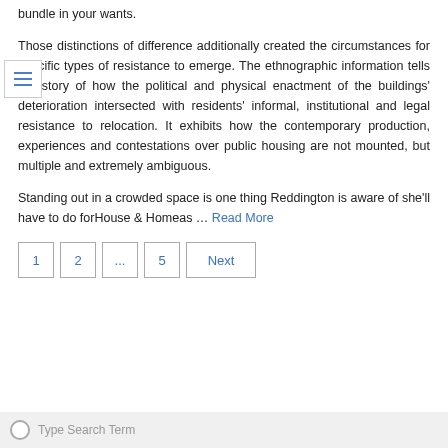bundle in your wants.
Those distinctions of difference additionally created the circumstances for specific types of resistance to emerge. The ethnographic information tells the story of how the political and physical enactment of the buildings' deterioration intersected with residents' informal, institutional and legal resistance to relocation. It exhibits how the contemporary production, experiences and contestations over public housing are not mounted, but multiple and extremely ambiguous.
Standing out in a crowded space is one thing Reddington is aware of she'll have to do forHouse & Homeas … Read More
1
2
...
5
Next
Type Search Term